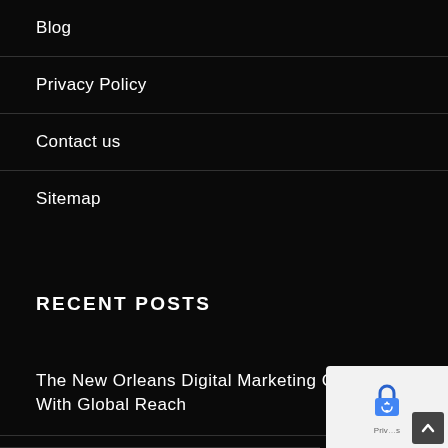Blog
Privacy Policy
Contact us
Sitemap
RECENT POSTS
The New Orleans Digital Marketing Company With Global Reach
Netgear Nighthawk M2 Review
[Figure (logo): reCAPTCHA badge with blue lock icon and privacy text]